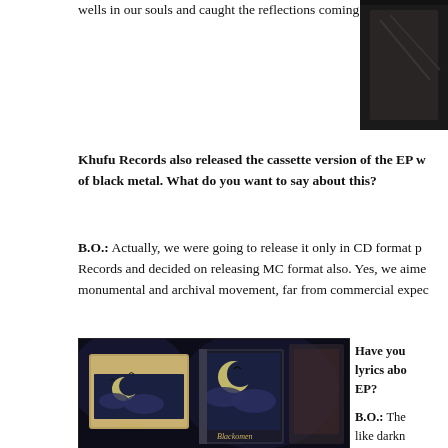wells in our souls and caught the reflections coming from there.
[Figure (photo): Partial dark photograph visible in top right corner]
Khufu Records also released the cassette version of the EP w... of black metal. What do you want to say about this?
B.O.: Actually, we were going to release it only in CD format p... Records and decided on releasing MC format also. Yes, we aime... monumental and archival movement, far from commercial expec...
[Figure (photo): Photo of Blackomen cassette tape and CD album with dark blue artwork featuring moon and birds]
Have you... lyrics abo... EP?
B.O.: The... like darkn... song is al... difficult c... primitive...